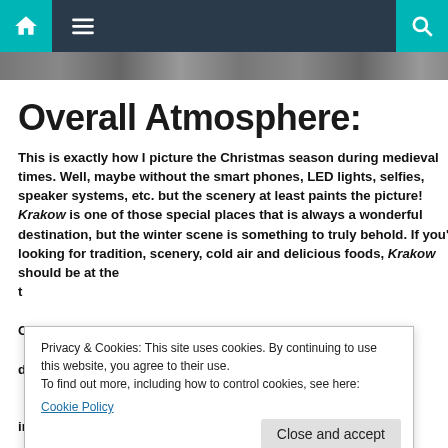Navigation bar with home, menu, and search icons
[Figure (photo): Partial street scene photo strip at top of page]
Overall Atmosphere:
This is exactly how I picture the Christmas season during medieval times. Well, maybe without the smart phones, LED lights, selfies, speaker systems, etc. but the scenery at least paints the picture! Krakow is one of those special places that is always a wonderful destination, but the winter scene is something to truly behold. If you're looking for tradition, scenery, cold air and delicious foods, Krakow should be at the t... C... d... inspiration!
Privacy & Cookies: This site uses cookies. By continuing to use this website, you agree to their use.
To find out more, including how to control cookies, see here:
Cookie Policy